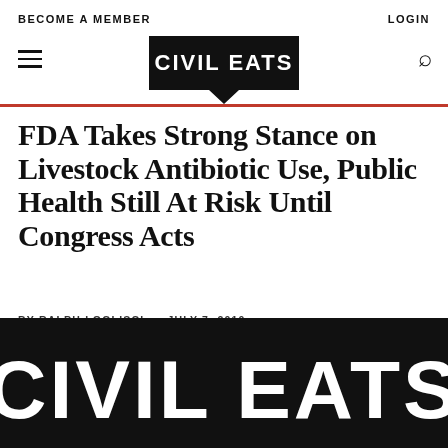BECOME A MEMBER   LOGIN
[Figure (logo): Civil Eats logo - speech bubble shape with CIVIL EATS text inside, black on white]
FDA Takes Strong Stance on Livestock Antibiotic Use, Public Health Still At Risk Until Congress Acts
BY RALPH LOGLISCI · JULY 7, 2010
[Figure (logo): Civil Eats large logo - white CIVIL EATS text on black background, very large, cropped at bottom of page]